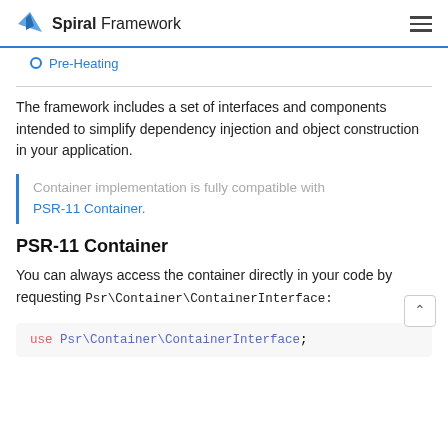Spiral Framework
Pre-Heating
The framework includes a set of interfaces and components intended to simplify dependency injection and object construction in your application.
Container implementation is fully compatible with PSR-11 Container.
PSR-11 Container
You can always access the container directly in your code by requesting Psr\Container\ContainerInterface:
use Psr\Container\ContainerInterface;